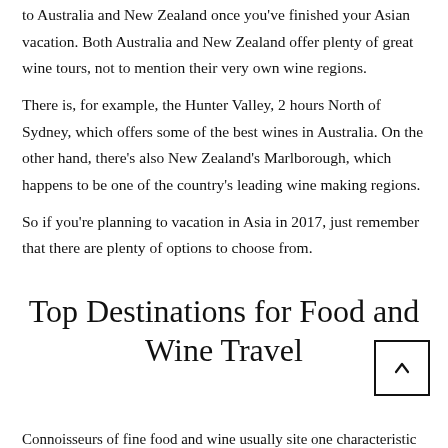to Australia and New Zealand once you've finished your Asian vacation. Both Australia and New Zealand offer plenty of great wine tours, not to mention their very own wine regions.
There is, for example, the Hunter Valley, 2 hours North of Sydney, which offers some of the best wines in Australia. On the other hand, there's also New Zealand's Marlborough, which happens to be one of the country's leading wine making regions.
So if you're planning to vacation in Asia in 2017, just remember that there are plenty of options to choose from.
Top Destinations for Food and Wine Travel
Connoisseurs of fine food and wine usually site one characteristic